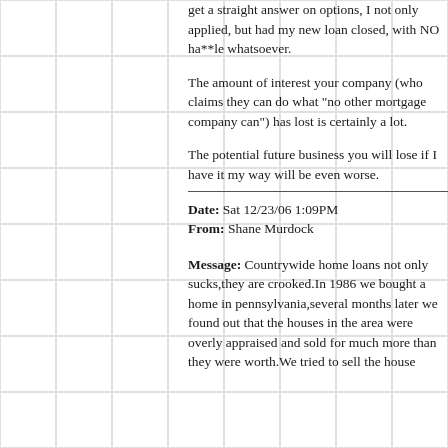get a straight answer on options, I not only applied, but had my new loan closed, with NO ha**le whatsoever.
The amount of interest your company (who claims they can do what "no other mortgage company can") has lost is certainly a lot.
The potential future business you will lose if I have it my way will be even worse.
Date: Sat 12/23/06 1:09PM
From: Shane Murdock
Message: Countrywide home loans not only sucks,they are crooked.In 1986 we bought a home in pennsylvania,several months later we found out that the houses in the area were overly appraised and sold for much more than they were worth.We tried to sell the house